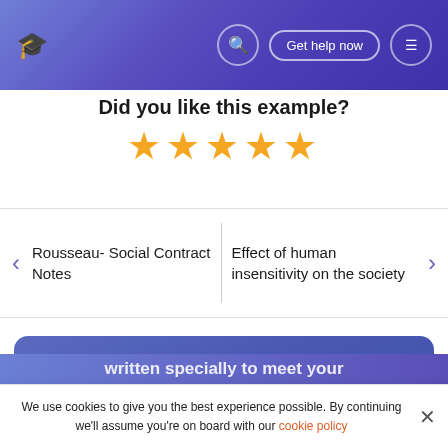Get help now
Did you like this example?
[Figure (other): Five gold/orange star rating icons]
Rousseau- Social Contract Notes
Effect of human insensitivity on the society
This essay was written by a fellow student. You may use it as a guide or sample for writing your own paper, but remember to cite it correctly. Don't submit it as your own as it will be considered plagiarism.
written specially to meet your
We use cookies to give you the best experience possible. By continuing we'll assume you're on board with our cookie policy